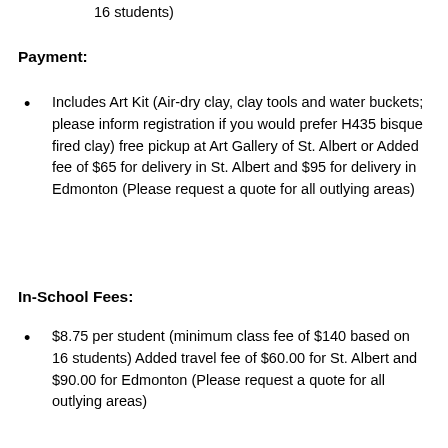16 students)
Payment:
Includes Art Kit (Air-dry clay, clay tools and water buckets; please inform registration if you would prefer H435 bisque fired clay) free pickup at Art Gallery of St. Albert or Added fee of $65 for delivery in St. Albert and $95 for delivery in Edmonton (Please request a quote for all outlying areas)
In-School Fees:
$8.75 per student (minimum class fee of $140 based on 16 students) Added travel fee of $60.00 for St. Albert and $90.00 for Edmonton (Please request a quote for all outlying areas)